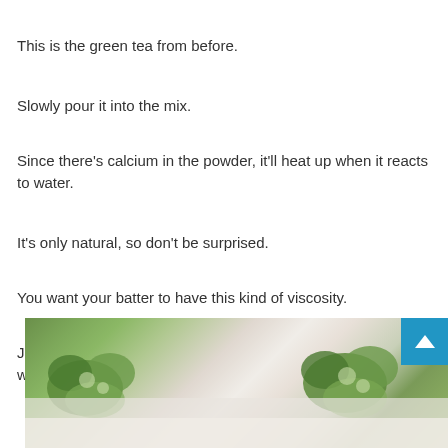This is the green tea from before.
Slowly pour it into the mix.
Since there's calcium in the powder, it'll heat up when it reacts to water.
It's only natural, so don't be surprised.
You want your batter to have this kind of viscosity.
Judging by how it feels, it'll be easy to coat the eggs' surfaces with it later.
[Figure (photo): Close-up photo of green herb garnishes (parsley or similar) on a light-colored surface, partially visible at the bottom of the page.]